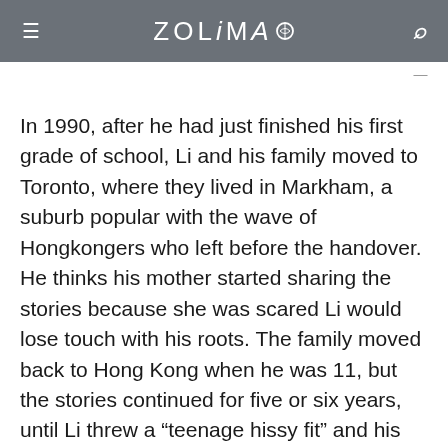ZOLIMA
In 1990, after he had just finished his first grade of school, Li and his family moved to Toronto, where they lived in Markham, a suburb popular with the wave of Hongkongers who left before the handover. He thinks his mother started sharing the stories because she was scared Li would lose touch with his roots. The family moved back to Hong Kong when he was 11, but the stories continued for five or six years, until Li threw a “teenage hissy fit” and his mother stopped.
Around that time, Li began drawing for fun, and by the time he went to university, he had settled into the cheerful, naïve style that has